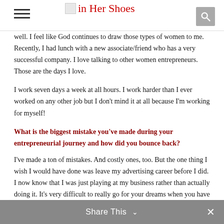in Her Shoes
well.  I feel like God continues to draw those types of women to me.  Recently, I had lunch with a new associate/friend who has a very successful company.  I love talking to other women entrepreneurs. Those are the days I love.
I work seven days a week at all hours. I work harder than I ever worked on any other job but I don't mind it at all because I'm working for myself!
What is the biggest mistake you've made during your entrepreneurial journey and how did you bounce back?
I've made a ton of mistakes.  And costly ones, too.  But the one thing I wish I would have done was leave my advertising career before I did.  I now know that I was just playing at my business rather than actually doing it.  It's very difficult to really go for your dreams when you have a regular paycheck to fall back on.
Share This